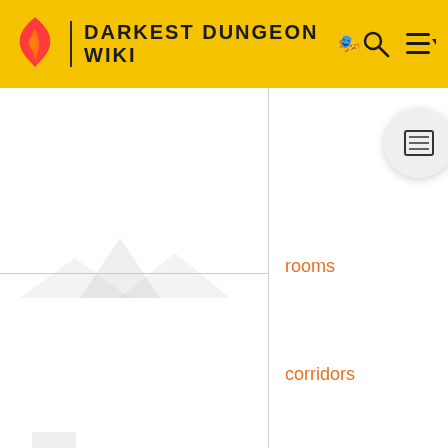DARKEST DUNGEON WIKI
rooms
corridors
[Figure (screenshot): Darkest Dungeon Wiki page showing a table/grid layout with 'rooms' and 'corridors' orange link labels, faint placeholder icons for dungeon map elements, a floating TOC button, and a close button. The page has a gold/yellow header bar with the Darkest Dungeon Wiki logo and title.]